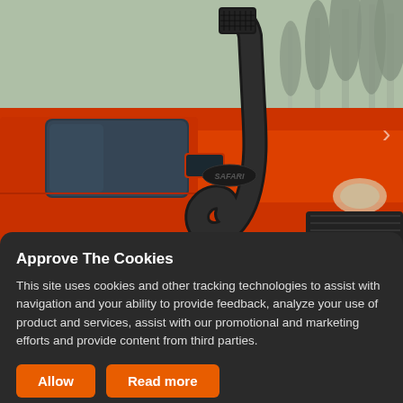[Figure (photo): Orange truck/SUV with a black Safari snorkel air intake mounted on the A-pillar, photographed outdoors with pine trees in the background on a grey day.]
Approve The Cookies
This site uses cookies and other tracking technologies to assist with navigation and your ability to provide feedback, analyze your use of product and services, assist with our promotional and marketing efforts and provide content from third parties.
Allow
Read more